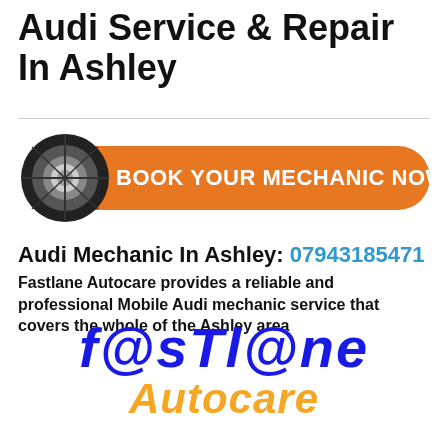Audi Service & Repair In Ashley
[Figure (infographic): Orange pill-shaped button with tire graphic on left side and white bold text reading BOOK YOUR MECHANIC NOW]
Audi Mechanic In Ashley: 07943185471
Fastlane Autocare provides a reliable and professional Mobile Audi mechanic service that covers the whole of the Ashley area
[Figure (logo): Fastlane Autocare logo in blue italic bold stylized text reading F@STL@NE with Autocare in orange below]